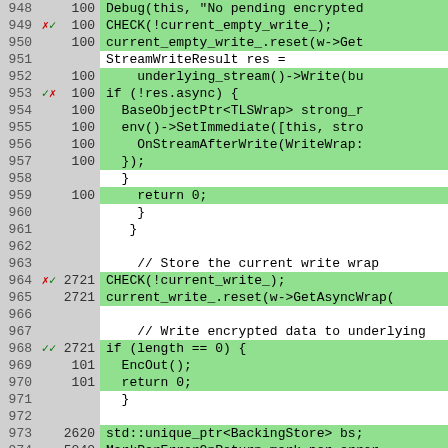[Figure (screenshot): Code coverage viewer showing C++ source lines 948-974 with line numbers, hit counts, coverage markers (red X, green checkmark), and green/white background highlighting for covered/uncovered lines.]